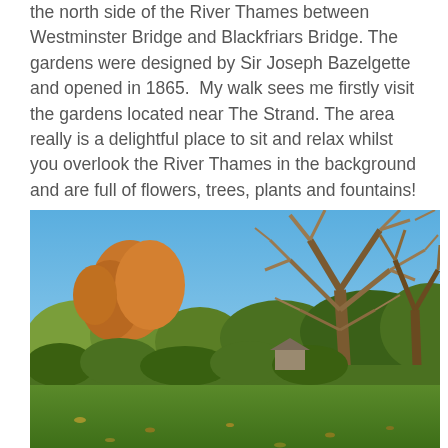the north side of the River Thames between Westminster Bridge and Blackfriars Bridge. The gardens were designed by Sir Joseph Bazelgette and opened in 1865.  My walk sees me firstly visit the gardens located near The Strand. The area really is a delightful place to sit and relax whilst you overlook the River Thames in the background and are full of flowers, trees, plants and fountains!
[Figure (photo): Autumn photograph of a park with large bare trees, golden-leafed trees, green lawn, hedges and a bright blue sky — likely Victoria Embankment Gardens, London.]